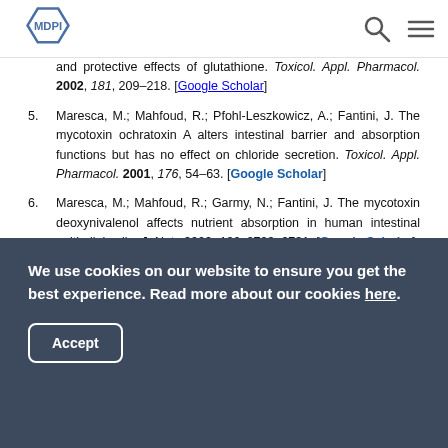MDPI logo, search icon, menu icon
and protective effects of glutathione. Toxicol. Appl. Pharmacol. 2002, 181, 209–218. [Google Scholar]
5. Maresca, M.; Mahfoud, R.; Pfohl-Leszkowicz, A.; Fantini, J. The mycotoxin ochratoxin A alters intestinal barrier and absorption functions but has no effect on chloride secretion. Toxicol. Appl. Pharmacol. 2001, 176, 54–63. [Google Scholar]
6. Maresca, M.; Mahfoud, R.; Garmy, N.; Fantini, J. The mycotoxin deoxynivalenol affects nutrient absorption in human intestinal epithelial cells. J. Nutr. 2002, 132, 2723–2731. [Google Scholar]
We use cookies on our website to ensure you get the best experience. Read more about our cookies here.
Accept